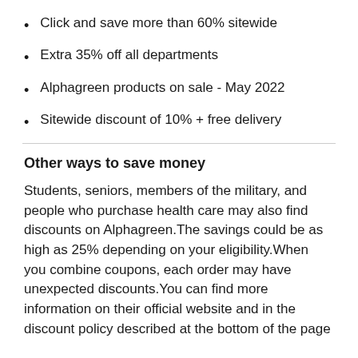Click and save more than 60% sitewide
Extra 35% off all departments
Alphagreen products on sale - May 2022
Sitewide discount of 10% + free delivery
Other ways to save money
Students, seniors, members of the military, and people who purchase health care may also find discounts on Alphagreen.The savings could be as high as 25% depending on your eligibility.When you combine coupons, each order may have unexpected discounts.You can find more information on their official website and in the discount policy described at the bottom of the page